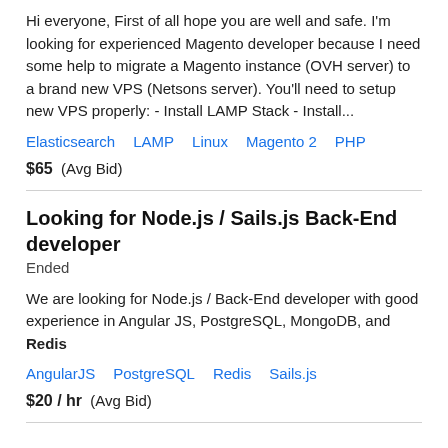Hi everyone, First of all hope you are well and safe. I'm looking for experienced Magento developer because I need some help to migrate a Magento instance (OVH server) to a brand new VPS (Netsons server). You'll need to setup new VPS properly: - Install LAMP Stack - Install...
Elasticsearch   LAMP   Linux   Magento 2   PHP
$65  (Avg Bid)
Looking for Node.js / Sails.js Back-End developer
Ended
We are looking for Node.js / Back-End developer with good experience in Angular JS, PostgreSQL, MongoDB, and Redis
AngularJS   PostgreSQL   Redis   Sails.js
$20 / hr  (Avg Bid)